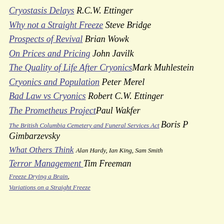Cryostasis Delays R.C.W. Ettinger
Why not a Straight Freeze Steve Bridge
Prospects of Revival Brian Wowk
On Prices and Pricing John Javilk
The Quality of Life After CryonicsMark Muhlestein
Cryonics and Population Peter Merel
Bad Law vs Cryonics Robert C.W. Ettinger
The Prometheus ProjectPaul Wakfer
The British Columbia Cemetery and Funeral Services Act Boris P Gimbarzevsky
What Others Think Alan Hardy, Ian King, Sam Smith
Terror Management Tim Freeman
Freeze Drying a Brain,
Variations on a Straight Freeze